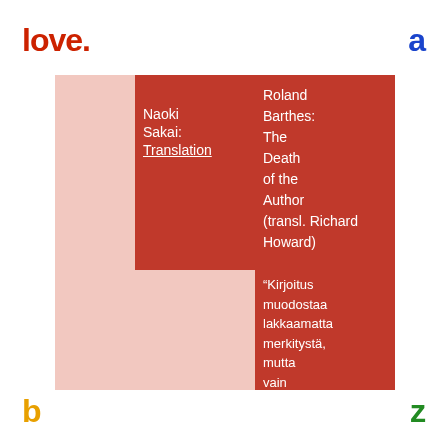love.
a
[Figure (illustration): Two overlapping colored rectangles (dark red on pink background) containing white text about Naoki Sakai: Translation and Roland Barthes: The Death of the Author (transl. Richard Howard), and a Finnish quote beginning with “Kirjoitus muodostaa lakkaamatta merkitystä, mutta vain haihduttaakseen]
b
z